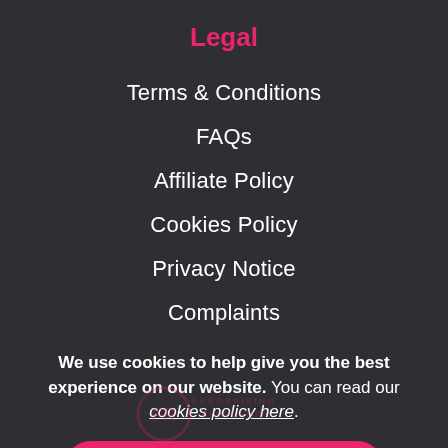Legal
Terms & Conditions
FAQs
Affiliate Policy
Cookies Policy
Privacy Notice
Complaints
We use cookies to help give you the best experience on our website. You can read our cookies policy here.
Got it